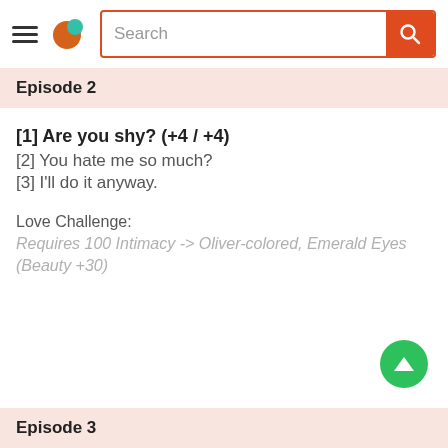Search
Episode 2
[1] Are you shy? (+4 / +4)
[2] You hate me so much?
[3] I'll do it anyway.
Love Challenge:
Requires 100 Intimacy -> Oliver-colored, Emerald Eyes (Beauty +30)
Episode 3